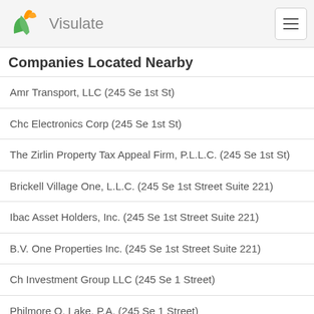Visulate
Companies Located Nearby
Amr Transport, LLC (245 Se 1st St)
Chc Electronics Corp (245 Se 1st St)
The Zirlin Property Tax Appeal Firm, P.L.L.C. (245 Se 1st St)
Brickell Village One, L.L.C. (245 Se 1st Street Suite 221)
Ibac Asset Holders, Inc. (245 Se 1st Street Suite 221)
B.V. One Properties Inc. (245 Se 1st Street Suite 221)
Ch Investment Group LLC (245 Se 1 Street)
Philmore O. Lake, P.A. (245 Se 1 Street)
Power Hands By Norma Gazonni Inc (245 Se 1st Street #312)